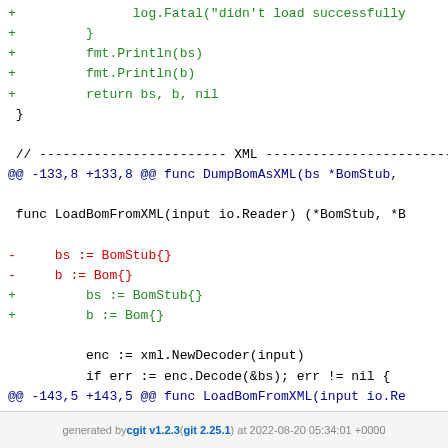[Figure (screenshot): A git diff output showing code changes in a Go source file. Green lines with + are additions, red lines with - are deletions, blue lines are diff headers. Code includes log.Fatal, fmt.Println, BomStub, Bom, xml.NewDecoder, enc.Decode, log.Fatal, return statements.]
generated by cgit v1.2.3 (git 2.25.1) at 2022-08-20 05:34:01 +0000